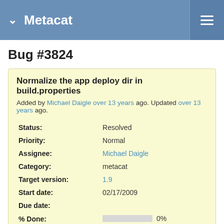Metacat
Bug #3824
Normalize the app deploy dir in build.properties
Added by Michael Daigle over 13 years ago. Updated over 13 years ago.
| Field | Value |
| --- | --- |
| Status: | Resolved |
| Priority: | Normal |
| Assignee: | Michael Daigle |
| Category: | metacat |
| Target version: | 1.9 |
| Start date: | 02/17/2009 |
| Due date: |  |
| % Done: | 0% |
| Estimated time: |  |
| Bugzilla-Id: | 3824 |